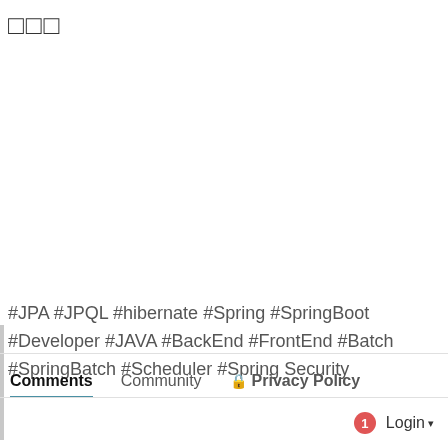□□□
#JPA #JPQL #hibernate #Spring #SpringBoot #Developer #JAVA #BackEnd #FrontEnd #Batch #SpringBatch #Scheduler #Spring Security
Comments  Community  🔒 Privacy Policy
1  Login ▾